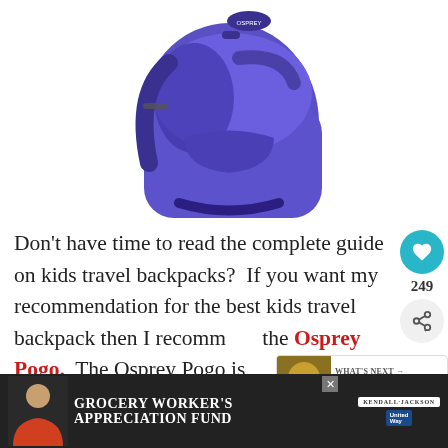[Figure (photo): Purple Osprey Pogo kids backpack on white background, shown from the front with shoulder straps visible]
Don't have time to read the complete guide on kids travel backpacks?  If you want my recommendation for the best kids travel backpack then I recommend the Osprey Pogo.  The Osprey Pogo is light weight, durable, and comfortable
[Figure (infographic): WHAT'S NEXT panel with thumbnail showing Is Genie Plus Worth It For...]
[Figure (screenshot): Advertisement bar: GROCERY WORKER'S APPRECIATION FUND with Kendall-Jackson and United Way logos]